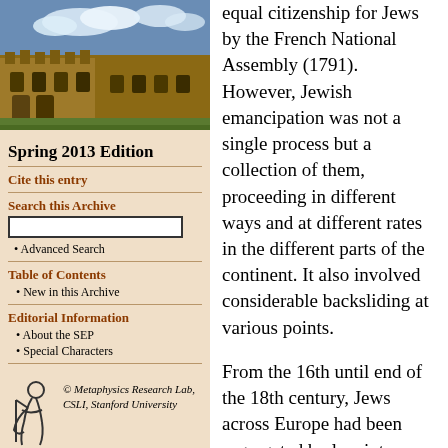[Figure (photo): Photograph of a historic university stone building with blue sky and clouds]
Spring 2013 Edition
Cite this entry
Search this Archive
Advanced Search
Table of Contents
New in this Archive
Editorial Information
About the SEP
Special Characters
[Figure (logo): Metaphysics Research Lab CSLI Stanford University logo with stylized figure]
© Metaphysics Research Lab, CSLI, Stanford University
equal citizenship for Jews by the French National Assembly (1791). However, Jewish emancipation was not a single process but a collection of them, proceeding in different ways and at different rates in the different parts of the continent. It also involved considerable backsliding at various points.

From the 16th until end of the 18th century, Jews across Europe had been segregated by law into specified rural areas, towns, and city ghettos. They were prohibited from owning land or farming and from joining guilds, which monopolized craft production at the time. Severe restrictions